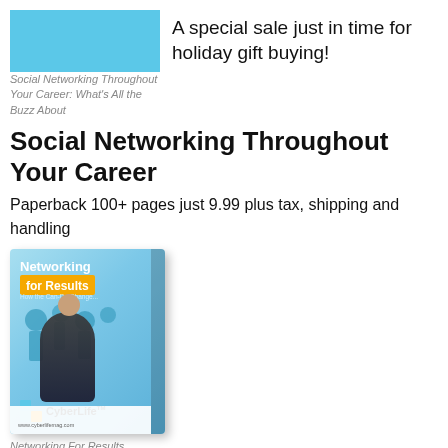[Figure (photo): Book cover image (top, blue rectangle placeholder) for 'Social Networking Throughout Your Career: What's All the Buzz About']
Social Networking Throughout Your Career: What's All the Buzz About
A special sale just in time for holiday gift buying!
Social Networking Throughout Your Career
Paperback 100+ pages just 9.99 plus tax, shipping and handling
[Figure (photo): Book cover of 'Networking For Results' by CyberLife — shows silhouette people on a blue background with a woman in business attire in the foreground.]
Networking For Results